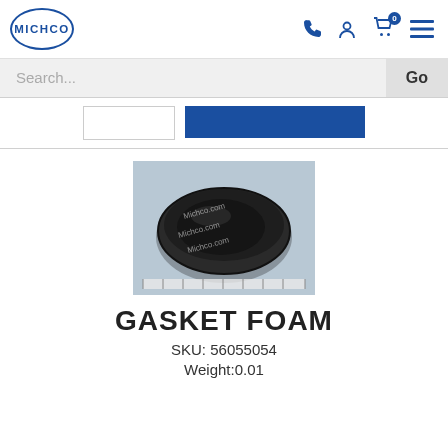[Figure (logo): Michco logo — oval blue border with MICHCO text in blue]
Search...
Go
[Figure (photo): Photo of a black oval foam gasket on a light blue-grey background with Michco.com watermarks]
GASKET FOAM
SKU: 56055054
Weight:0.01